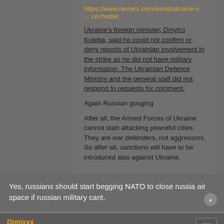https://www.reuters.com/world/ukraine-s ... ce=twitter
Ukraine's foreign minister, Dmytro Kuleba, said he could not confirm or deny reports of Ukrainian involvement in the strike as he did not have military information. The Ukrainian Defence Ministry and the general staff did not respond to requests for comment.
Again Russian gouging
After all, the Armed Forces of Ukraine cannot start attacking peaceful cities. They are war defenders, not aggressors. So after all, sanctions will have to be introduced also against Ukraine.
Yes, russians should start begging NATO to close russia air space if russian military cant.
Djmixxx
Filter Inserter